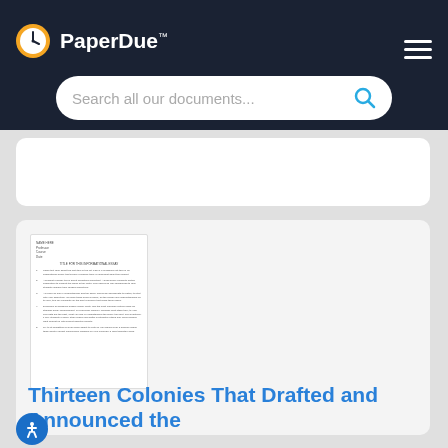PaperDue™
Search all our documents...
[Figure (screenshot): Thumbnail preview of a numbered list document page]
Thirteen Colonies That Drafted and Announced the